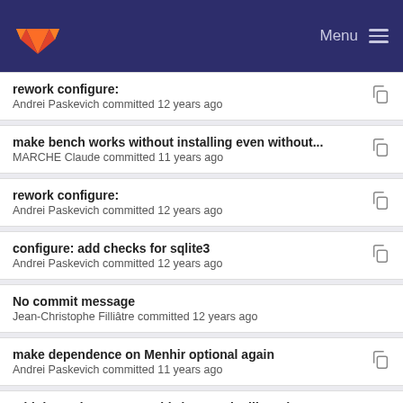GitLab — Menu
rework configure:
Andrei Paskevich committed 12 years ago
make bench works without installing even without...
MARCHE Claude committed 11 years ago
rework configure:
Andrei Paskevich committed 12 years ago
configure: add checks for sqlite3
Andrei Paskevich committed 12 years ago
No commit message
Jean-Christophe Filliâtre committed 12 years ago
make dependence on Menhir optional again
Andrei Paskevich committed 11 years ago
add dependency on menhir (not on the library) + a...
Andrei Paskevich committed 11 years ago
added basic compilation support with ocamlgraph...